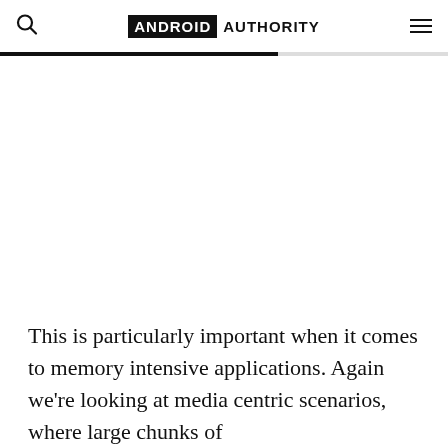ANDROID AUTHORITY
[Figure (other): Large white/blank advertisement or image area below the header progress bar]
This is particularly important when it comes to memory intensive applications. Again we’re looking at media centric scenarios, where large chunks of